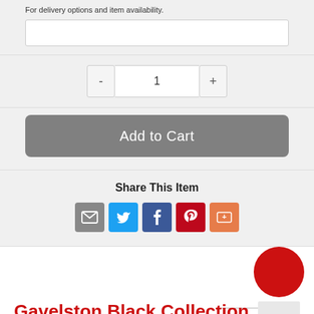For delivery options and item availability.
[Figure (screenshot): Zip code input text field, white background with border]
[Figure (screenshot): Quantity selector with minus button, input showing 1, plus button]
[Figure (screenshot): Add to Cart button, grey rounded rectangle]
Share This Item
[Figure (infographic): Social sharing icons: email (grey), Twitter (blue), Facebook (dark blue), Pinterest (red), More (orange)]
Gavelston Black Collection